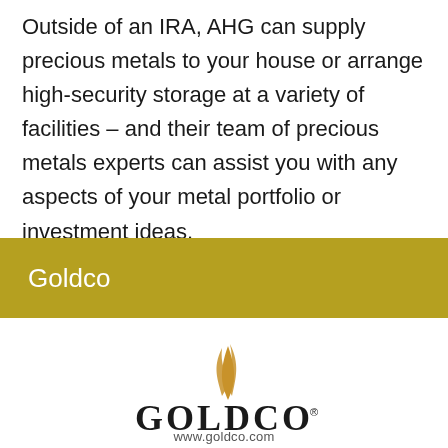Outside of an IRA, AHG can supply precious metals to your house or arrange high-security storage at a variety of facilities – and their team of precious metals experts can assist you with any aspects of your metal portfolio or investment ideas.
Goldco
[Figure (logo): Goldco logo: stylized golden flame/leaf above the word GOLDCO in serif capitals with a registered trademark symbol]
www.goldco.com